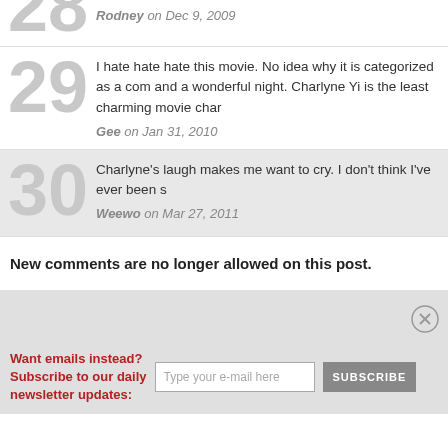28 — Rodney on Dec 9, 2009
29 — I hate hate hate this movie. No idea why it is categorized as a com and a wonderful night. Charlyne Yi is the least charming movie char — Gee on Jan 31, 2010
30 — Charlyne's laugh makes me want to cry. I don't think I've ever been s — Weewo on Mar 27, 2011
New comments are no longer allowed on this post.
Want emails instead? Subscribe to our daily newsletter updates: